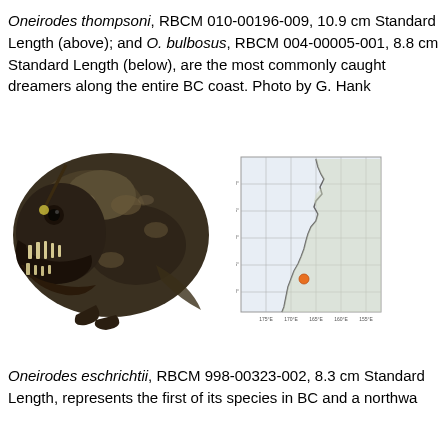Oneirodes thompsoni, RBCM 010-00196-009, 10.9 cm Standard Length (above); and O. bulbosus, RBCM 004-00005-001, 8.8 cm Standard Length (below), are the most commonly caught dreamers along the entire BC coast. Photo by G. Hank
[Figure (photo): Close-up photograph of a deep-sea anglerfish specimen (Oneirodes) showing a dark, rounded body with an open mouth revealing long sharp teeth, and small appendages visible.]
[Figure (map): Small geographic map showing the BC coast region with latitude/longitude grid lines and a single orange dot marking a specimen location in the lower portion of the map.]
Oneirodes eschrichtii, RBCM 998-00323-002, 8.3 cm Standard Length, represents the first of its species in BC and a northwa